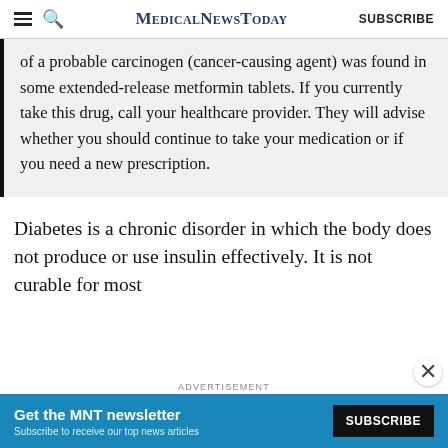MedicalNewsToday SUBSCRIBE
of a probable carcinogen (cancer-causing agent) was found in some extended-release metformin tablets. If you currently take this drug, call your healthcare provider. They will advise whether you should continue to take your medication or if you need a new prescription.
Diabetes is a chronic disorder in which the body does not produce or use insulin effectively. It is not curable for most
ADVERTISEMENT
Get the MNT newsletter Subscribe to receive our top news articles SUBSCRIBE